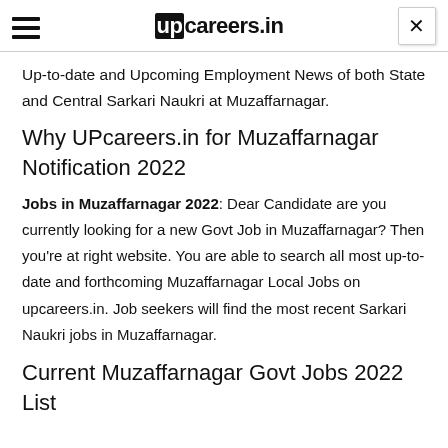upcareers.in
Up-to-date and Upcoming Employment News of both State and Central Sarkari Naukri at Muzaffarnagar.
Why UPcareers.in for Muzaffarnagar Notification 2022
Jobs in Muzaffarnagar 2022: Dear Candidate are you currently looking for a new Govt Job in Muzaffarnagar? Then you're at right website. You are able to search all most up-to-date and forthcoming Muzaffarnagar Local Jobs on upcareers.in. Job seekers will find the most recent Sarkari Naukri jobs in Muzaffarnagar.
Current Muzaffarnagar Govt Jobs 2022 List